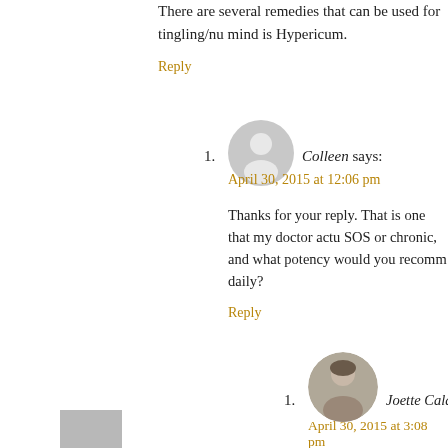There are several remedies that can be used for tingling/nu mind is Hypericum.
Reply
Colleen says:
April 30, 2015 at 12:06 pm
Thanks for your reply. That is one that my doctor actu SOS or chronic, and what potency would you recomm daily?
Reply
Joette Calabrese, HMC, CCH, RSHom(N
April 30, 2015 at 3:08 pm
Without knowing your case, I can't offer potoencies your doctor has homeopathic knowledge, so I'd a treatment.
Reply